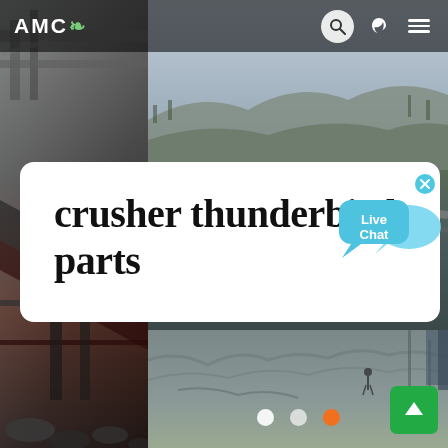[Figure (screenshot): AMC website screenshot showing a mining/crushing equipment website with industrial machinery photos in background, a search box header with logo, live chat bubble, and a white card displaying the search query 'crusher thunderbird parts']
AMC
crusher thunderbird parts